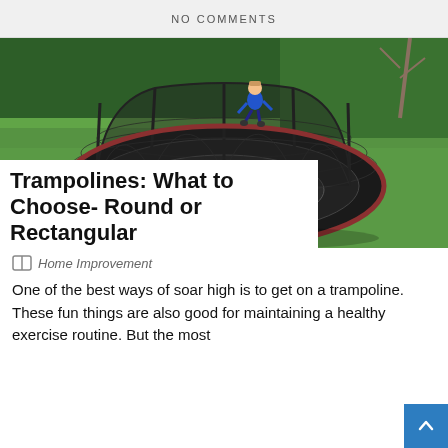NO COMMENTS
[Figure (photo): Aerial view of a round trampoline with safety net enclosure on a green lawn. A child in a blue shirt is jumping high above the trampoline.]
Trampolines: What to Choose- Round or Rectangular
Home Improvement
One of the best ways of soar high is to get on a trampoline. These fun things are also good for maintaining a healthy exercise routine. But the most